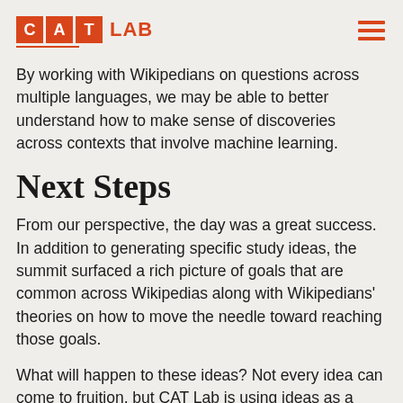CAT LAB
By working with Wikipedians on questions across multiple languages, we may be able to better understand how to make sense of discoveries across contexts that involve machine learning.
Next Steps
From our perspective, the day was a great success. In addition to generating specific study ideas, the summit surfaced a rich picture of goals that are common across Wikipedias along with Wikipedians' theories on how to move the needle toward reaching those goals.
What will happen to these ideas? Not every idea can come to fruition, but CAT Lab is using ideas as a